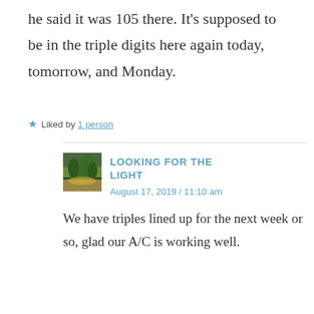he said it was 105 there. It's supposed to be in the triple digits here again today, tomorrow, and Monday.
★ Liked by 1 person
LOOKING FOR THE LIGHT
August 17, 2019 / 11:10 am

We have triples lined up for the next week or so, glad our A/C is working well.